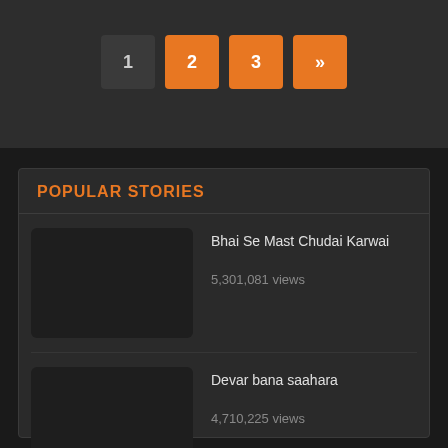1 2 3 »
POPULAR STORIES
Bhai Se Mast Chudai Karwai
5,301,081 views
Devar bana saahara
4,710,225 views
Garam Garam chudai, devar bhabi ka
1,855,976 views